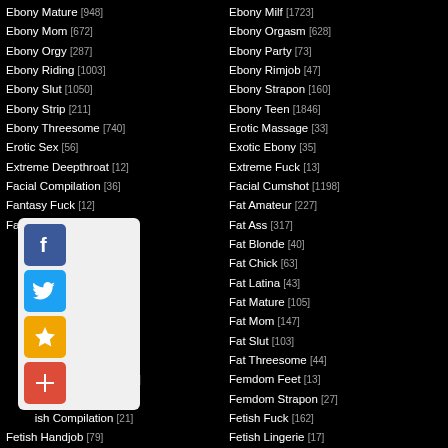Ebony Mature [948]
Ebony Mom [672]
Ebony Orgy [287]
Ebony Riding [1003]
Ebony Slut [1050]
Ebony Strip [211]
Ebony Threesome [740]
Erotic Sex [56]
Extreme Deepthroat [12]
Facial Compilation [36]
Fantasy Fuck [12]
Fat Anal [74]
Fat Babe [80]
Fat Brunette [78]
Fat Fuck [279]
Fat Lesbian [47]
Fat Milf [178]
Fat Orgy [35]
Fat Teen [72]
Female Domination [98]
Femdom Mistress [15]
Fetish Compilation [21]
Fetish Handjob [79]
Fingering Masturbation [102]
Fingering Pussy [192]
First Blowjob [121]
First Orgasm [30]
Ebony Milf [1723]
Ebony Orgasm [628]
Ebony Party [73]
Ebony Rimjob [47]
Ebony Strapon [160]
Ebony Teen [1846]
Erotic Massage [33]
Exotic Ebony [35]
Extreme Fuck [13]
Facial Cumshot [1198]
Fat Amateur [227]
Fat Ass [317]
Fat Blonde [40]
Fat Chick [63]
Fat Latina [43]
Fat Mature [105]
Fat Mom [147]
Fat Slut [103]
Fat Threesome [44]
Femdom Feet [13]
Femdom Strapon [27]
Fetish Fuck [162]
Fetish Lingerie [17]
Fingering Orgasm [46]
First Anal [48]
First Fuck [88]
First Threesome [17]
[Figure (other): Social share widget with Facebook, Twitter, Favorites star, and Add Plus buttons]